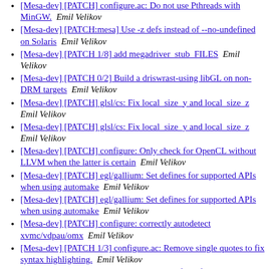[Mesa-dev] [PATCH] configure.ac: Do not use Pthreads with MinGW.  Emil Velikov
[Mesa-dev] [PATCH:mesa] Use -z defs instead of --no-undefined on Solaris  Emil Velikov
[Mesa-dev] [PATCH 1/8] add megadriver_stub_FILES  Emil Velikov
[Mesa-dev] [PATCH 0/2] Build a driswrast-using libGL on non-DRM targets  Emil Velikov
[Mesa-dev] [PATCH] glsl/cs: Fix local_size_y and local_size_z  Emil Velikov
[Mesa-dev] [PATCH] glsl/cs: Fix local_size_y and local_size_z  Emil Velikov
[Mesa-dev] [PATCH] configure: Only check for OpenCL without LLVM when the latter is certain  Emil Velikov
[Mesa-dev] [PATCH] egl/gallium: Set defines for supported APIs when using automake  Emil Velikov
[Mesa-dev] [PATCH] egl/gallium: Set defines for supported APIs when using automake  Emil Velikov
[Mesa-dev] [PATCH] configure: correctly autodetect xvmc/vdpau/omx  Emil Velikov
[Mesa-dev] [PATCH 1/3] configure.ac: Remove single quotes to fix syntax highlighting.  Emil Velikov
[Mesa-dev] [PATCH v2] egl/gallium: Set defines for supported APIs when using automake  Emil Velikov
[Mesa-dev] [PATCH] configure: correctly autodetect